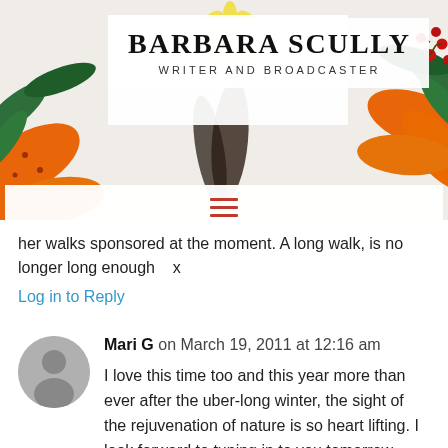[Figure (illustration): Website header banner with colorful floral background (orange lilies, yellow daisies, green leaves, red berries, dark feathers) and a white text box overlay showing site name and subtitle]
BARBARA SCULLY
WRITER AND BROADCASTER
[Figure (other): Navigation bar with hamburger menu icon (three horizontal orange-red lines)]
her walks sponsored at the moment. A long walk, is no longer long enough    x
Log in to Reply
Mari G on March 19, 2011 at 12:16 am
I love this time too and this year more than ever after the uber-long winter, the sight of the rejuvenation of nature is so heart lifting. I look forward to tuning in to you tomorrow, Barbara!
Log in to Reply